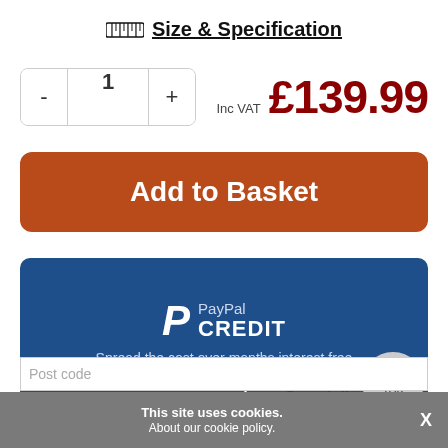Size & Specification
1
Inc VAT £139.99
Add to Basket
[Figure (logo): PayPal CREDIT logo with 'P' icon and text 'PayPal CREDIT']
Spread the cost over months interest free
See more options
See delivery rates
TOP
This site uses cookies. About our cookie policy.
Post code